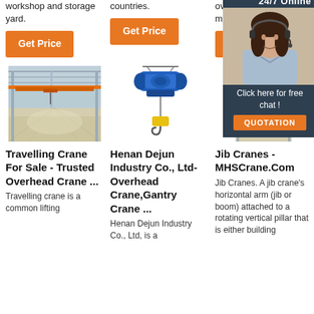workshop and storage yard.
countries.
overhead cranes can meet different sort of ...
Get Price
Get Price
Get Price
[Figure (photo): Interior of a large industrial warehouse with an overhead travelling crane, orange girder, metal roof structure]
[Figure (photo): Blue electric wire rope hoist with yellow hook block, isolated on white background]
[Figure (photo): Interior of industrial warehouse with overhead crane, partial view with chat overlay showing customer service agent]
24/7 Online
Click here for free chat !
QUOTATION
Travelling Crane For Sale - Trusted Overhead Crane ...
Henan Dejun Industry Co., Ltd-Overhead Crane,Gantry Crane ...
Jib Cranes - MHSCrane.Com
Travelling crane is a common lifting
Henan Dejun Industry Co., Ltd, is a
Jib Cranes. A jib crane's horizontal arm (jib or boom) attached to a rotating vertical pillar that is either building